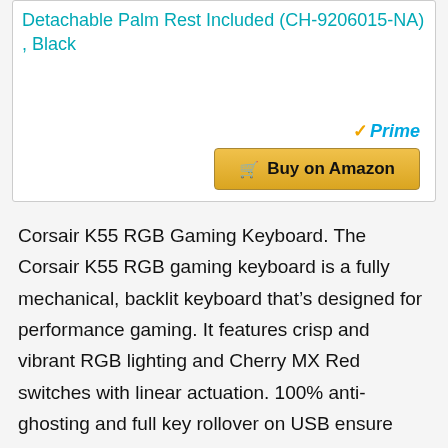Detachable Palm Rest Included (CH-9206015-NA) , Black
[Figure (other): Amazon Prime badge with gold checkmark and blue Prime text]
Buy on Amazon
Corsair K55 RGB Gaming Keyboard. The Corsair K55 RGB gaming keyboard is a fully mechanical, backlit keyboard that’s designed for performance gaming. It features crisp and vibrant RGB lighting and Cherry MX Red switches with linear actuation. 100% anti-ghosting and full key rollover on USB ensure accurate gameplay, and the 18 G-keys are programmable for fast macro commands.
Corsair K55 RGB Gaming Keyboard. The Corsair K55 RGB gaming keyboard is a fully mechanical, backlit